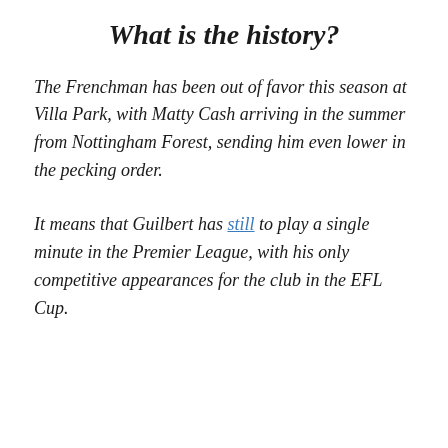What is the history?
The Frenchman has been out of favor this season at Villa Park, with Matty Cash arriving in the summer from Nottingham Forest, sending him even lower in the pecking order.
It means that Guilbert has still to play a single minute in the Premier League, with his only competitive appearances for the club in the EFL Cup.